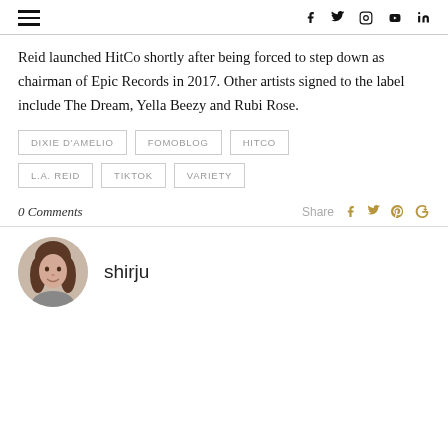Navigation header with hamburger menu and social icons (Facebook, Twitter, Instagram, YouTube, LinkedIn)
Reid launched HitCo shortly after being forced to step down as chairman of Epic Records in 2017. Other artists signed to the label include The Dream, Yella Beezy and Rubi Rose.
DIXIE D'AMELIO
FOMOBLOG
HITCO
L.A. REID
TIKTOK
VARIETY
0 Comments  Share
shirju